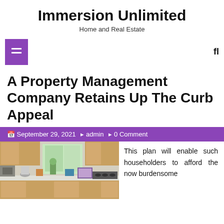Immersion Unlimited
Home and Real Estate
[Figure (other): Navigation bar with purple menu icon and search icon]
A Property Management Company Retains Up The Curb Appeal
September 29, 2021  admin  0 Comment
[Figure (photo): Kitchen interior photo showing countertops, cabinets, and window]
This plan will enable such householders to afford the now burdensome